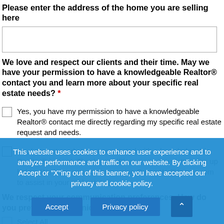Please enter the address of the home you are selling here
[address input field]
We love and respect our clients and their time. May we have your permission to have a knowledgeable Realtor® contact you and learn more about your specific real estate needs? *
Yes, you have my permission to have a knowledgeable Realtor® contact me directly regarding my specific real estate request and needs.
No, I am not ready to get connected with a knowledgeable Realtor® just yet. Thank you. (Please see newsletter sign up below. We hope you continue using DreamWellHomes.com to assist in your real estate.)
We respect your communication preferences. How do you prefer to communicate? *
Select All
This website uses cookies to enhance user experience and to analyze performance and traffic on our website. By clicking Accept or "X"ing out of this banner, you have accepted our privacy and cookie policy.
Accept
Privacy policy